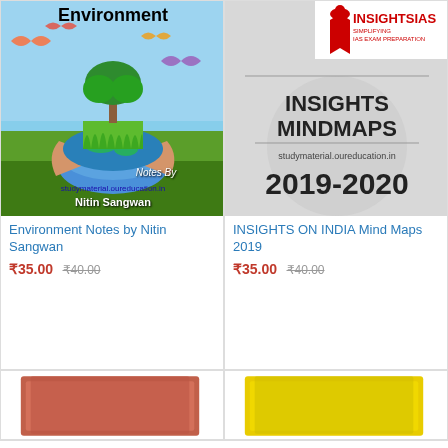[Figure (illustration): Book cover: Environment Notes by Nitin Sangwan - shows tree on earth held by hands with butterflies]
Environment Notes by Nitin Sangwan
₹35.00 ₹40.00
[Figure (illustration): Book cover: Insights Mindmaps 2019-2020 with InsightsIAS logo]
INSIGHTS ON INDIA Mind Maps 2019
₹35.00 ₹40.00
[Figure (illustration): Partial book cover - brown/red colored book]
[Figure (illustration): Partial book cover - yellow colored book]
Home  Category  Search  Cart